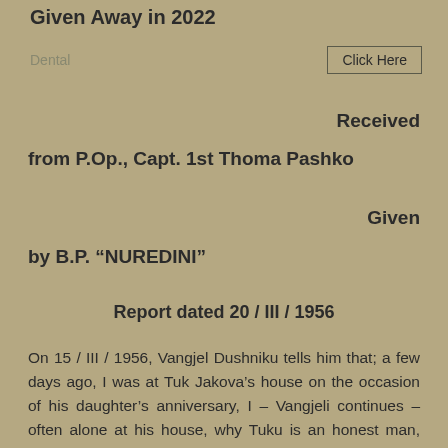Given Away in 2022
Dental
Click Here
Received from P.Op., Capt. 1st Thoma Pashko
Given by B.P. “NUREDINI”
Report dated 20 / III / 1956
On 15 / III / 1956, Vangjel Dushniku tells him that; a few days ago, I was at Tuk Jakova’s house on the occasion of his daughter’s anniversary, I – Vangjeli continues – often alone at his house, why Tuku is an honest man, Tuku talked to me in addition to the work we do in the Company , told me that; I’m sorry for the fight he did, if I am a worker, it does not impress me, why I was a villain